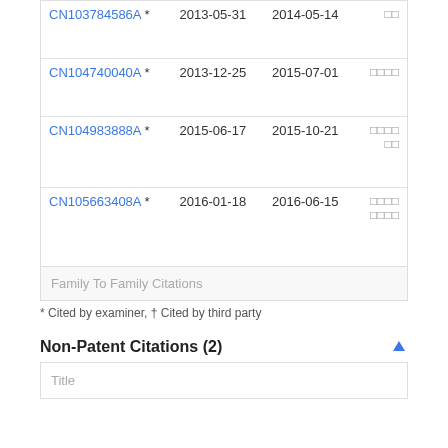| Publication | Filing Date | Publication Date | Assignee |
| --- | --- | --- | --- |
| CN103784586A * | 2013-05-31 | 2014-05-14 | □□ |
| CN104740040A * | 2013-12-25 | 2015-07-01 | □□□□ |
| CN104983888A * | 2015-06-17 | 2015-10-21 | □□□□□□ |
| CN105663408A * | 2016-01-18 | 2016-06-15 | □□□□□□□□ |
| Family To Family Citations |  |  |  |
* Cited by examiner, † Cited by third party
Non-Patent Citations (2)
| Title |
| --- |